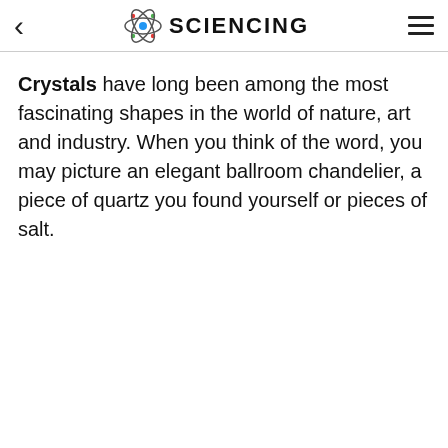SCIENCING
Crystals have long been among the most fascinating shapes in the world of nature, art and industry. When you think of the word, you may picture an elegant ballroom chandelier, a piece of quartz you found yourself or pieces of salt.